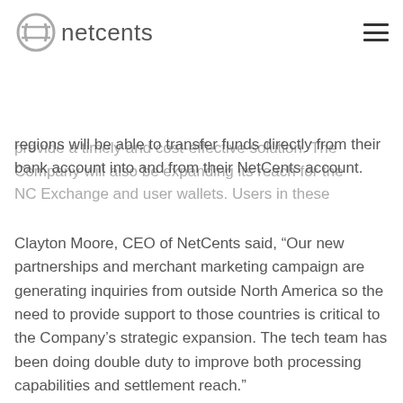netcents
provide a timely and cost-effective solution. The Company will also be expanding its reach for the NC Exchange and user wallets. Users in these regions will be able to transfer funds directly from their bank account into and from their NetCents account.
Clayton Moore, CEO of NetCents said, “Our new partnerships and merchant marketing campaign are generating inquiries from outside North America so the need to provide support to those countries is critical to the Company’s strategic expansion. The tech team has been doing double duty to improve both processing capabilities and settlement reach.”
-
About NetCents
NetCents is your payment processing direct...